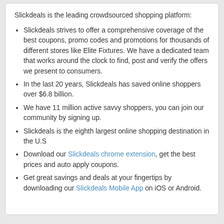Slickdeals is the leading crowdsourced shopping platform:
Slickdeals strives to offer a comprehensive coverage of the best coupons, promo codes and promotions for thousands of different stores like Elite Fixtures. We have a dedicated team that works around the clock to find, post and verify the offers we present to consumers.
In the last 20 years, Slickdeals has saved online shoppers over $6.8 billion.
We have 11 million active savvy shoppers, you can join our community by signing up.
Slickdeals is the eighth largest online shopping destination in the U.S
Download our Slickdeals chrome extension, get the best prices and auto apply coupons.
Get great savings and deals at your fingertips by downloading our Slickdeals Mobile App on iOS or Android.